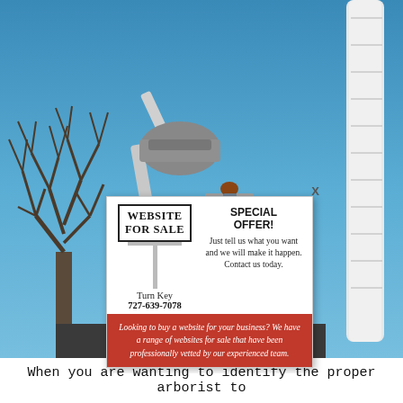[Figure (photo): Aerial bucket truck worker trimming a bare winter tree against a blue sky, with a large white boom arm visible on the right side.]
[Figure (infographic): Website for sale popup ad. White background box with a real-estate style sign reading 'WEBSITE FOR SALE', 'Turn Key', '727-639-7078', a 'SPECIAL OFFER!' section, and a red banner at bottom reading 'Looking to buy a website for your business? We have a range of websites for sale that have been professionally vetted by our experienced team.']
When you are wanting to identify the proper arborist to